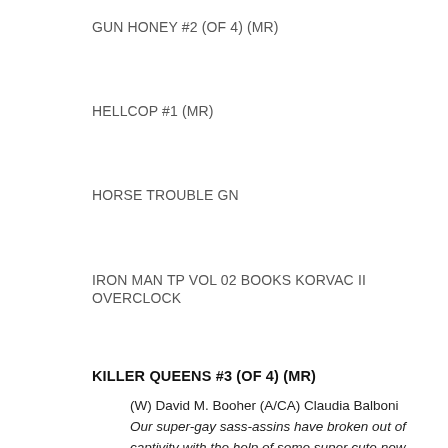GUN HONEY #2 (OF 4) (MR)
HELLCOP #1 (MR)
HORSE TROUBLE GN
IRON MAN TP VOL 02 BOOKS KORVAC II OVERCLOCK
KILLER QUEENS #3 (OF 4) (MR)
(W) David M. Booher (A/CA) Claudia Balboni Our super-gay sass-assins have broken out of captivity with the help of some super cute new friends and a hot new ride. Teaming with rebels Haws and Ballik, the Killer Queens set out on a groovy adventure to escape the